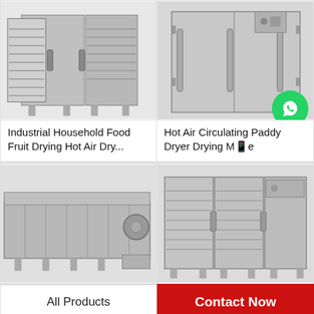[Figure (photo): Industrial household food fruit drying hot air dryer machine - large stainless steel cabinet with multiple shelves and open door]
Industrial Household Food Fruit Drying Hot Air Dry...
[Figure (photo): Hot air circulating paddy dryer drying machine - large square stainless steel industrial dryer cabinet]
Hot Air Circulating Paddy Dryer Drying Machine
[Figure (photo): Large industrial belt/mesh conveyor dryer machine - long grey rectangular industrial drying system]
[Figure (photo): Industrial food drying machine - stainless steel cabinet dryer with multiple shelves and doors]
WhatsApp Online
All Products
Contact Now